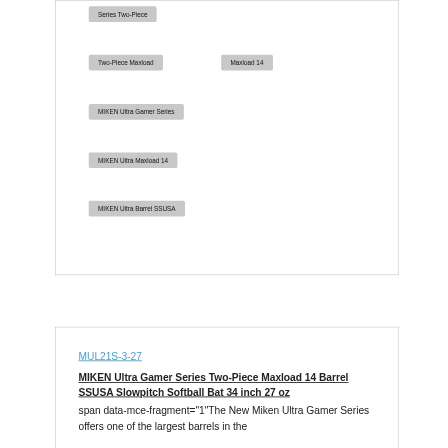Series Two-Piece
Two-Piece Maxload
Maxload 14
MIKEN Ultra Gamer Series
MIKEN Ultra Maxload 14
MIKEN Ultra Barrel SSUSA
MUL21S-3-27
MIKEN Ultra Gamer Series Two-Piece Maxload 14 Barrel SSUSA Slowpitch Softball Bat 34 inch 27 oz
span data-mce-fragment="1"The New Miken Ultra Gamer Series offers one of the largest barrels in the